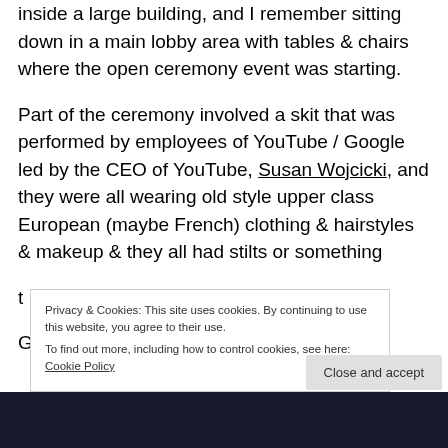inside a large building, and I remember sitting down in a main lobby area with tables & chairs where the open ceremony event was starting.
Part of the ceremony involved a skit that was performed by employees of YouTube / Google led by the CEO of YouTube, Susan Wojcicki, and they were all wearing old style upper class European (maybe French) clothing & hairstyles & makeup & they all had stilts or something t...
Privacy & Cookies: This site uses cookies. By continuing to use this website, you agree to their use. To find out more, including how to control cookies, see here: Cookie Policy
Close and accept